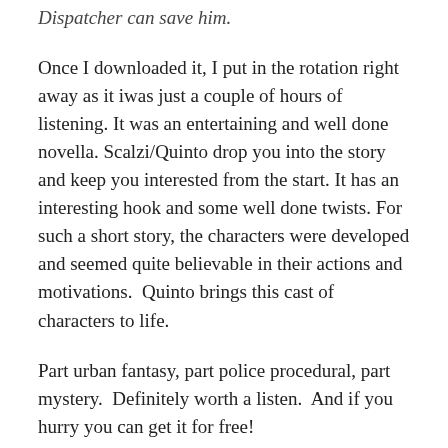Dispatcher can save him.
Once I downloaded it, I put in the rotation right away as it iwas just a couple of hours of listening. It was an entertaining and well done novella. Scalzi/Quinto drop you into the story and keep you interested from the start. It has an interesting hook and some well done twists. For such a short story, the characters were developed and seemed quite believable in their actions and motivations.  Quinto brings this cast of characters to life.
Part urban fantasy, part police procedural, part mystery.  Definitely worth a listen.  And if you hurry you can get it for free!